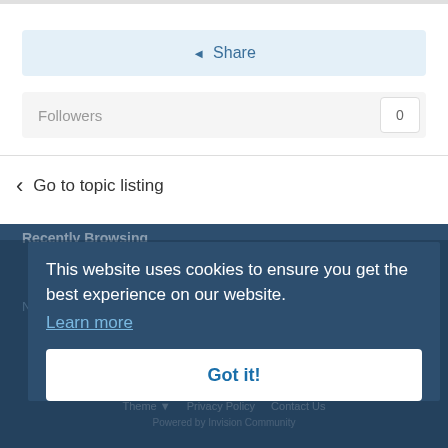Share
Followers 0
Go to topic listing
Recently Browsing
No registered users viewing this page.
This website uses cookies to ensure you get the best experience on our website. Learn more
Got it!
Theme ▼  Privacy Policy  Contact Us  Powered by Invision Community